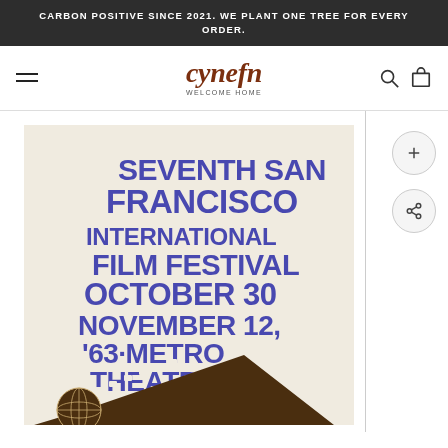CARBON POSITIVE SINCE 2021. WE PLANT ONE TREE FOR EVERY ORDER.
cynefn WELCOME HOME
[Figure (illustration): Vintage film festival poster for the Seventh San Francisco International Film Festival, October 30 - November 12, '63, Metro Theatre. Bold purple/blue condensed typography arranged in a funnel/film-strip shape, with a brown film reel graphic and globe at the bottom on a cream background.]